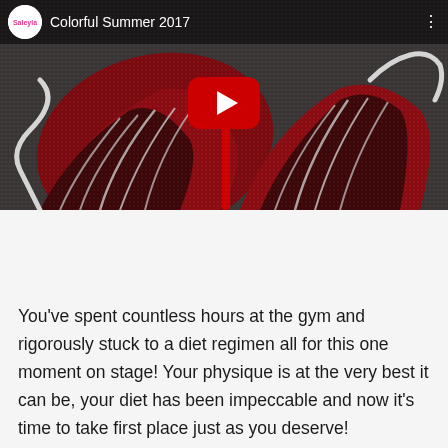[Figure (screenshot): YouTube video thumbnail showing a red and black rhinestone-encrusted competition bikini top with silver beaded straps, titled 'Colorful Summer 2017' with a Saleyla channel logo and a red YouTube play button in the center.]
You've spent countless hours at the gym and rigorously stuck to a diet regimen all for this one moment on stage! Your physique is at the very best it can be, your diet has been impeccable and now it's time to take first place just as you deserve!